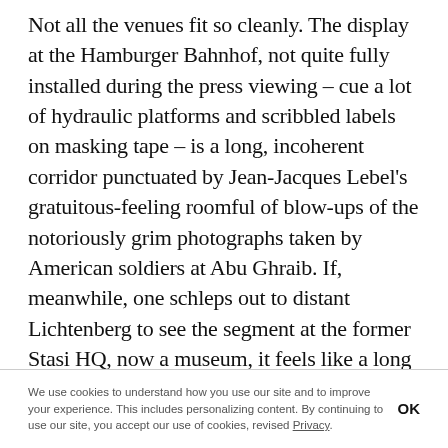Not all the venues fit so cleanly. The display at the Hamburger Bahnhof, not quite fully installed during the press viewing – cue a lot of hydraulic platforms and scribbled labels on masking tape – is a long, incoherent corridor punctuated by Jean-Jacques Lebel's gratuitous-feeling roomful of blow-ups of the notoriously grim photographs taken by American soldiers at Abu Ghraib. If, meanwhile, one schleps out to distant Lichtenberg to see the segment at the former Stasi HQ, now a museum, it feels like a long way to go for seven artworks, bad ventilation and some surly museum staff. By that point, though, and assuming you go there last, less might feel like more and vice versa. Finishing up and encountering people who'd just
We use cookies to understand how you use our site and to improve your experience. This includes personalizing content. By continuing to use our site, you accept our use of cookies, revised Privacy.